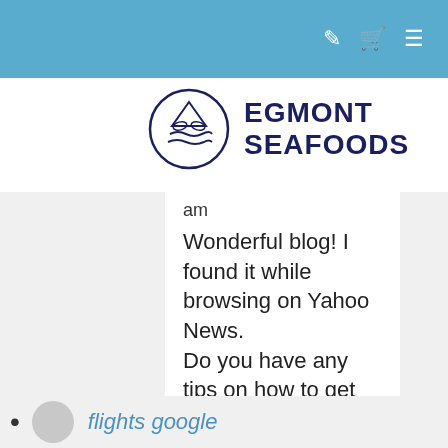Navigation bar with user, cart, and menu icons
[Figure (logo): Egmont Seafoods logo: circular emblem with fish and waves, navy blue text reading EGMONT SEAFOODS]
am
Wonderful blog! I found it while browsing on Yahoo News.
Do you have any tips on how to get listed in Yahoo News? I've been trying for a while but I never seem to get there!
Cheers adreamoftrains website host
flights google